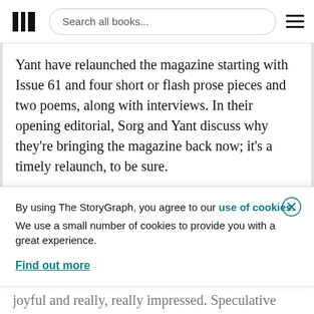Search all books...
Yant have relaunched the magazine starting with Issue 61 and four short or flash prose pieces and two poems, along with interviews. In their opening editorial, Sorg and Yant discuss why they're bringing the magazine back now; it's a timely relaunch, to be sure.

I haven't read previous issues of Fantasy, so I'm not able to point out what might have changed,
By using The StoryGraph, you agree to our use of cookies.
We use a small number of cookies to provide you with a great experience.
Find out more
joyful and really, really impressed. Speculative